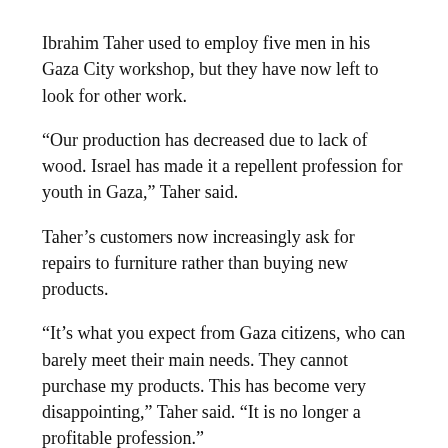Ibrahim Taher used to employ five men in his Gaza City workshop, but they have now left to look for other work.
“Our production has decreased due to lack of wood. Israel has made it a repellent profession for youth in Gaza,” Taher said.
Taher’s customers now increasingly ask for repairs to furniture rather than buying new products.
“It’s what you expect from Gaza citizens, who can barely meet their main needs. They cannot purchase my products. This has become very disappointing,” Taher said. “It is no longer a profitable profession.”
Blow to the economy
The furniture industry used to be a significant sector of the Palestinian economy.